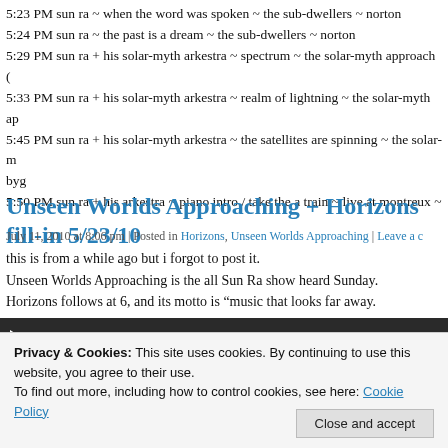5:23 PM sun ra ~ when the word was spoken ~ the sub-dwellers ~ norton
5:24 PM sun ra ~ the past is a dream ~ the sub-dwellers ~ norton
5:29 PM sun ra + his solar-myth arkestra ~ spectrum ~ the solar-myth approach (
5:33 PM sun ra + his solar-myth arkestra ~ realm of lightning ~ the solar-myth ap
5:45 PM sun ra + his solar-myth arkestra ~ the satellites are spinning ~ the solar-myth byg
5:50 PM sun ra + his arkestra ~ piano intro / take the a train ~ live at montreux ~
Unseen Worlds Approaching + Horizons fill-in 5/23/10
July 11, 2010 at 8:06 pm | Posted in Horizons, Unseen Worlds Approaching | Leave a c
this is from a while ago but i forgot to post it.
Unseen Worlds Approaching is the all Sun Ra show heard Sunday. Horizons follows at 6, and its motto is “music that looks far away.
Privacy & Cookies: This site uses cookies. By continuing to use this website, you agree to their use.
To find out more, including how to control cookies, see here: Cookie Policy
Close and accept
5:12 PM sun ra ~ angels and demons at play ~ angels and demons
5:27 PM sun ra ~ lights on a satellite ~ live at montreux ~ inner